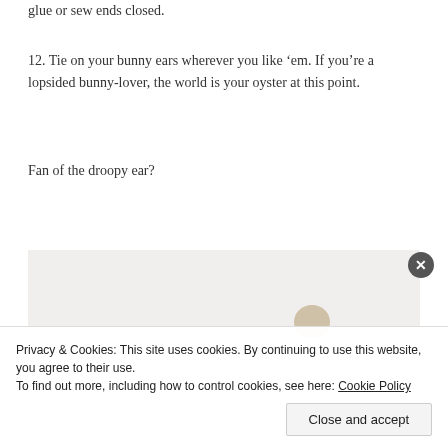glue or sew ends closed.
12. Tie on your bunny ears wherever you like ‘em. If you’re a lopsided bunny-lover, the world is your oyster at this point.
Fan of the droopy ear?
[Figure (photo): A light gray/beige background image area showing a partial view of what appears to be a bunny or stuffed animal, partially visible in the upper right area.]
Privacy & Cookies: This site uses cookies. By continuing to use this website, you agree to their use.
To find out more, including how to control cookies, see here: Cookie Policy
Close and accept